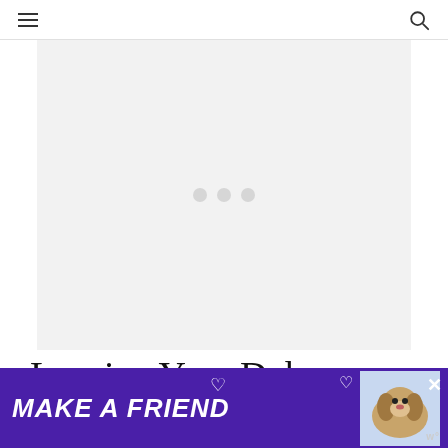Navigation menu and search icon
[Figure (photo): Image loading placeholder with three grey dots on a light grey background]
Leaving Your Doberman
[Figure (infographic): Advertisement banner: MAKE A FRIEND with a photo of a basset hound dog on a purple background with heart icons and a close button]